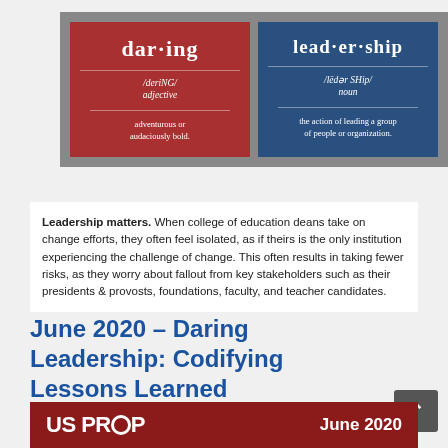[Figure (illustration): Two dictionary-style definition cards side by side on a gray background. Left card is red showing 'dar·ing' /deriNG/ adjective - adventurous or audaciously bold. Right card is blue showing 'lead·er·ship' /lēdər SHip/ noun - the action of leading a group of people or organization.]
Leadership matters. When college of education deans take on change efforts, they often feel isolated, as if theirs is the only institution experiencing the challenge of change. This often results in taking fewer risks, as they worry about fallout from key stakeholders such as their presidents & provosts, foundations, faculty, and teacher candidates.
June 2020 – Daring Leadership: Codifying Lessons Learned
[Figure (illustration): Bottom red banner showing 'US PREP' logo text with a circular O, and 'June 2020' text on the right, with background imagery of people.]